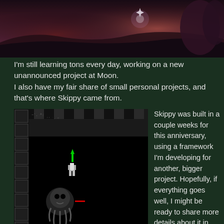[Figure (photo): Top banner image showing a fantasy/action game scene with a glowing character silhouette against a dramatic dark reddish-purple sky with trees and landscape]
I'm still learning tons every day, working on a new unannounced project at Moon.
I also have my fair share of small personal projects, and that's where Skippy came from.
[Figure (screenshot): A black and white retro game screenshot showing a robot/character figure with a green arrow, a skull/octopus enemy, and platform game elements with pixel art graphics]
Skippy was built in a couple weeks for this anniversary, using a framework I'm developing for another, bigger project. Hopefully, if everything goes well, I might be ready to share more details about it in the not so distant future. It's going to be pretty unique.
I work as a game developer full time, and I still find the process of learning really interesting. I'm making sure that for every new skill I research, my time and effort doing so contributes towards something